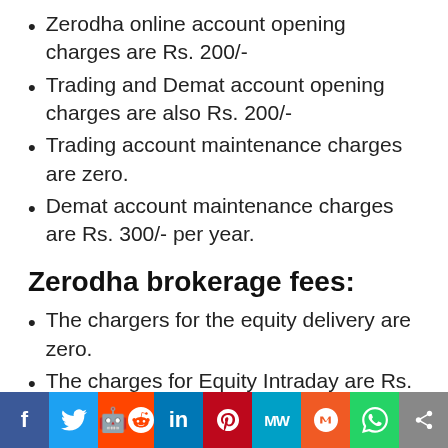Zerodha online account opening charges are Rs. 200/-
Trading and Demat account opening charges are also Rs. 200/-
Trading account maintenance charges are zero.
Demat account maintenance charges are Rs. 300/- per year.
Zerodha brokerage fees:
The chargers for the equity delivery are zero.
The charges for Equity Intraday are Rs. 20/-
The charges for the Equity Futures are Rs. 20/-